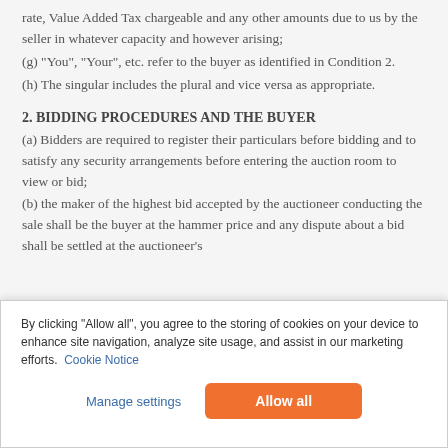rate, Value Added Tax chargeable and any other amounts due to us by the seller in whatever capacity and however arising;
(g) "You", "Your", etc. refer to the buyer as identified in Condition 2.
(h) The singular includes the plural and vice versa as appropriate.
2. BIDDING PROCEDURES AND THE BUYER
(a) Bidders are required to register their particulars before bidding and to satisfy any security arrangements before entering the auction room to view or bid;
(b) the maker of the highest bid accepted by the auctioneer conducting the sale shall be the buyer at the hammer price and any dispute about a bid shall be settled at the auctioneer's absolute discretion by offering the lot during the course of the
By clicking “Allow all”, you agree to the storing of cookies on your device to enhance site navigation, analyze site usage, and assist in our marketing efforts. Cookie Notice